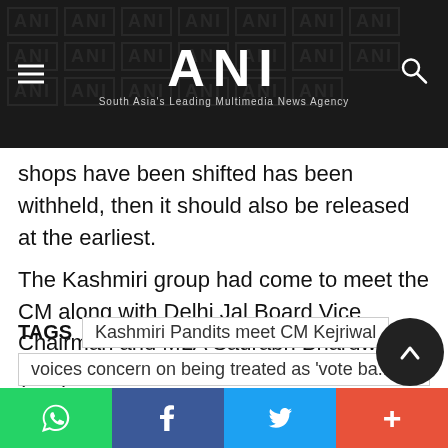ANI — South Asia's Leading Multimedia News Agency
shops have been shifted has been withheld, then it should also be released at the earliest.
The Kashmiri group had come to meet the CM along with Delhi Jal Board Vice Chairman and MLA Saurabh Bhardwaj. (ANI)
TAGS  Kashmiri Pandits meet CM Kejriwal
voices concern on being treated as 'vote ba...
WhatsApp | Facebook | Twitter | More